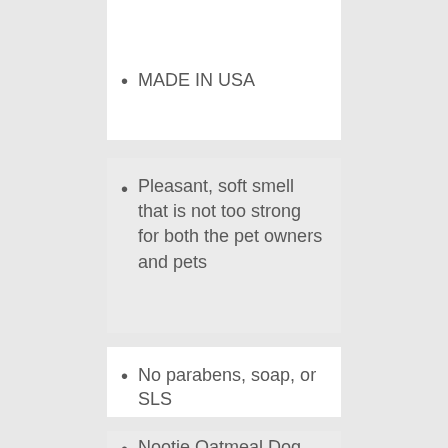MADE IN USA
Pleasant, soft smell that is not too strong for both the pet owners and pets
No parabens, soap, or SLS
Nootie Oatmeal Dog Shampoo passes quality and consistency standards for pet care products